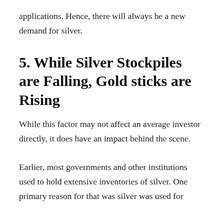applications. Hence, there will always be a new demand for silver.
5. While Silver Stockpiles are Falling, Gold sticks are Rising
While this factor may not affect an average investor directly, it does have an impact behind the scene.
Earlier, most governments and other institutions used to hold extensive inventories of silver. One primary reason for that was silver was used for